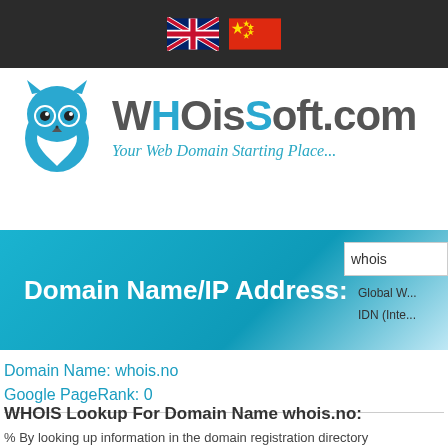WHOisSoft.com navigation bar with UK and China flags
[Figure (logo): WHOisSoft.com owl logo with tagline 'Your Web Domain Starting Place...']
Domain Name/IP Address:
whois
Global W...
IDN (Inte...
Domain Name: whois.no
Google PageRank: 0
WHOIS Lookup For Domain Name whois.no:
% By looking up information in the domain registration directory